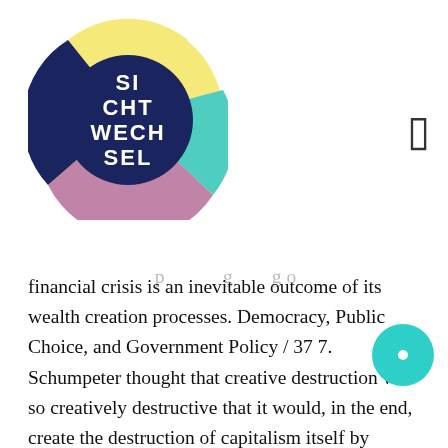[Figure (logo): Circular logo with colorful sections (yellow, teal, dark blue, pink/purple) and white text reading SI CHT WECH SEL arranged in the center]
financial crisis is an inevitable outcome of its wealth creation processes. Democracy, Public Choice, and Government Policy / 37 7. Schumpeter thought that creative destruction was so creatively destructive that it would, in the end, create the destruction of capitalism itself by undermining capitalismâ€s institutional framework, that framework being common sense. Schumpeter believed that innovation is considered as an essential driver of competitive- ness [6] and economic dynamics [7]. Joseph Schumpeter is largely known for his seminal contributions to our understanding of the role of